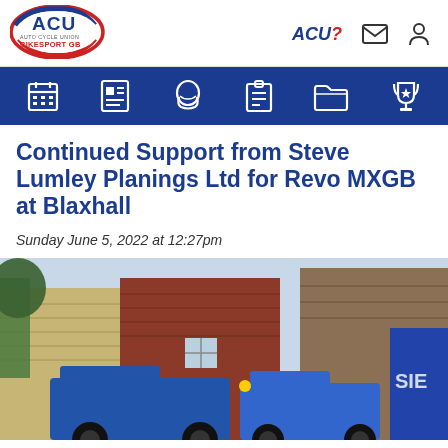[Figure (logo): ACU Auto Cycle Union Bikesport GB logo with red, blue and grey oval design]
ACU? [mail icon] [user icon]
[Figure (infographic): Blue navigation bar with white icons: calendar, newspaper/news, rider/person, clipboard/results, folder/documents, trophy/awards]
Continued Support from Steve Lumley Planings Ltd for Revo MXGB at Blaxhall
Sunday June 5, 2022 at 12:27pm
[Figure (photo): Street scene with brick buildings and blue road planing machinery/vehicles]